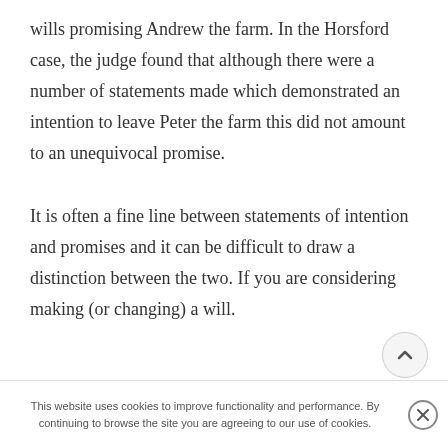wills promising Andrew the farm. In the Horsford case, the judge found that although there were a number of statements made which demonstrated an intention to leave Peter the farm this did not amount to an unequivocal promise.
It is often a fine line between statements of intention and promises and it can be difficult to draw a distinction between the two. If you are considering making (or changing) a will.
This website uses cookies to improve functionality and performance. By continuing to browse the site you are agreeing to our use of cookies.